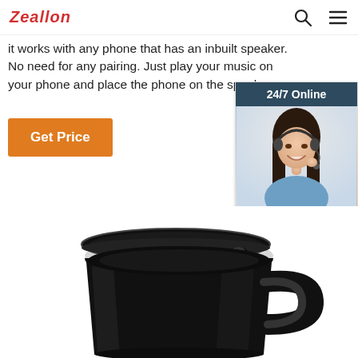Zeallon
it works with any phone that has an inbuilt speaker. No need for any pairing. Just play your music on your phone and place the phone on the speaker.
Get Price
[Figure (screenshot): 24/7 Online chat widget with a woman wearing a headset. Contains 'Click here for free chat!' text and a 'QUOTATION' button.]
[Figure (photo): Black ceramic mug with lid viewed from above-side angle, showing the lid slightly open and the handle on the right side.]